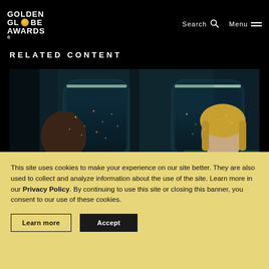GOLDEN GLOBE AWARDS — Search  Menu
RELATED CONTENT
[Figure (photo): Two men sitting across from each other on a train at night. Left: a heavyset Black man in a dark suit. Right: a white man with long blond hair wearing a green jacket. City lights visible through train windows.]
This site uses cookies to make your experience on our site better. They are also used to collect and analyze information about the use of the site. Learn more in our Privacy Policy. By continuing to use this site or closing this banner, you consent to our use of these cookies.